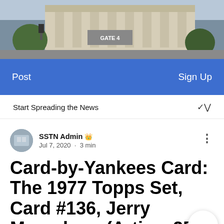[Figure (photo): Exterior photo of Yankee Stadium, showing the facade and Gate 4 entrance, with trees and street visible.]
Post    Sign Up
Start Spreading the News
SSTN Admin  Jul 7, 2020 · 3 min
Card-by-Yankees Card: The 1977 Topps Set, Card #136, Jerry Mumphrey (Article 25)